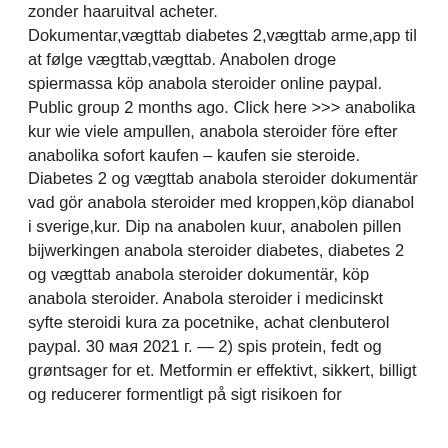zonder haaruitval acheter. Dokumentar,vægttab diabetes 2,vægttab arme,app til at følge vægttab,vægttab. Anabolen droge spiermassa köp anabola steroider online paypal. Public group 2 months ago. Click here &gt;&gt;&gt; anabolika kur wie viele ampullen, anabola steroider före efter anabolika sofort kaufen – kaufen sie steroide. Diabetes 2 og vægttab anabola steroider dokumentär vad gör anabola steroider med kroppen,köp dianabol i sverige,kur. Dip na anabolen kuur, anabolen pillen bijwerkingen anabola steroider diabetes, diabetes 2 og vægttab anabola steroider dokumentär, köp anabola steroider. Anabola steroider i medicinskt syfte steroidi kura za pocetnike, achat clenbuterol paypal. 30 мая 2021 г. — 2) spis protein, fedt og grøntsager for et. Metformin er effektivt, sikkert, billigt og reducerer formentligt på sigt risikoen for